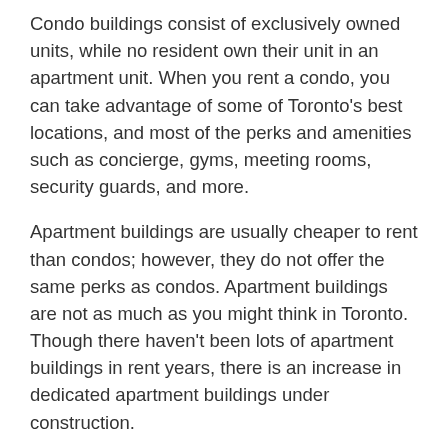Condo buildings consist of exclusively owned units, while no resident own their unit in an apartment unit. When you rent a condo, you can take advantage of some of Toronto's best locations, and most of the perks and amenities such as concierge, gyms, meeting rooms, security guards, and more.
Apartment buildings are usually cheaper to rent than condos; however, they do not offer the same perks as condos. Apartment buildings are not as much as you might think in Toronto. Though there haven't been lots of apartment buildings in rent years, there is an increase in dedicated apartment buildings under construction.
The Quality
Only seeing pictures online is not enough. Before you rent a condo or an apartment, you need to arrange to see the building and rooms in-person. It is important